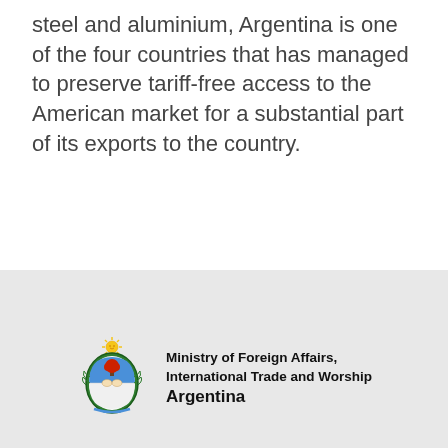steel and aluminium, Argentina is one of the four countries that has managed to preserve tariff-free access to the American market for a substantial part of its exports to the country.
[Figure (logo): Argentina coat of arms with text: Ministry of Foreign Affairs, International Trade and Worship Argentina]
www.cancilleria.gob.ar is an official website of the Argentine Government